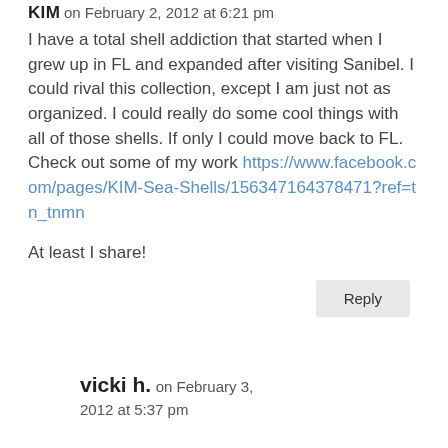KIM on February 2, 2012 at 6:21 pm
I have a total shell addiction that started when I grew up in FL and expanded after visiting Sanibel. I could rival this collection, except I am just not as organized. I could really do some cool things with all of those shells. If only I could move back to FL.
Check out some of my work https://www.facebook.com/pages/KIM-Sea-Shells/156347164378471?ref=tn_tnmn

At least I share!
Reply
vicki h. on February 3, 2012 at 5:37 pm